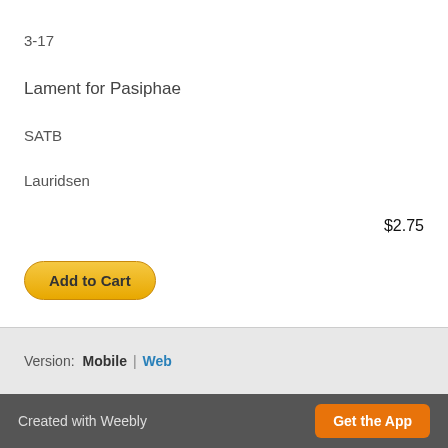3-17
Lament for Pasiphae
SATB
Lauridsen
$2.75
Add to Cart
Version:  Mobile  |  Web
Created with Weebly   Get the App